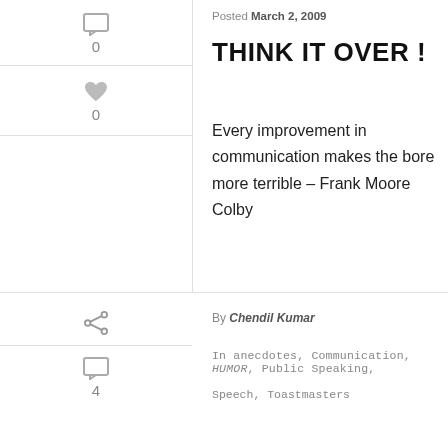Posted March 2, 2009
THINK IT OVER !
Every improvement in communication makes the bore more terrible – Frank Moore Colby
READ MORE
By Chendil Kumar
In anecdotes, Communication, HUMOR, Public Speaking, Speech, Toastmasters